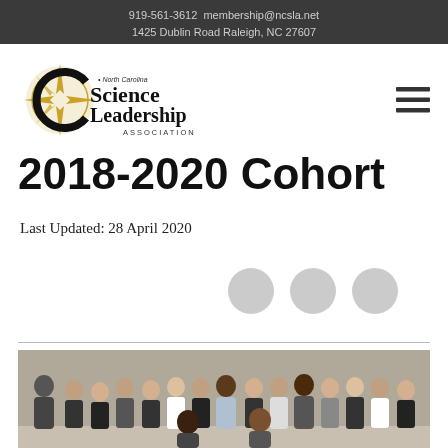919-561-3612  membership@ncsla.net
1425 Dublin Road Raleigh, NC 27607
[Figure (logo): North Carolina Science Leadership Association compass logo with star/compass rose and gold/black text]
2018-2020 Cohort
Last Updated: 28 April 2020
[Figure (photo): Group photo of approximately 16 people (the 2018-2020 cohort) standing together indoors in professional attire]